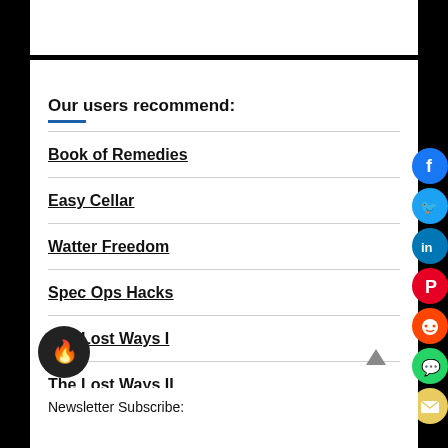Our users recommend:
Book of Remedies
Easy Cellar
Watter Freedom
Spec Ops Hacks
The Lost Ways I
The Lost Ways II
Newsletter Subscribe: